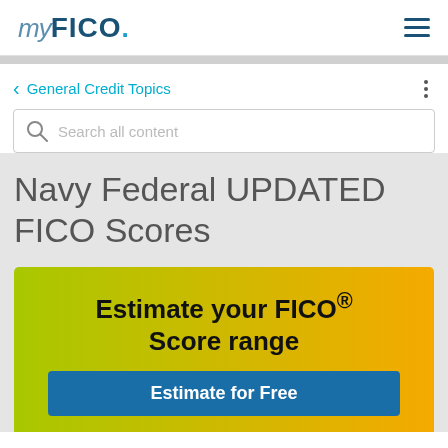myFICO
General Credit Topics
Search all content
Navy Federal UPDATED FICO Scores
[Figure (infographic): Promotional banner with gradient background (green to orange) containing text 'Estimate your FICO® Score range' and a blue button 'Estimate for Free']